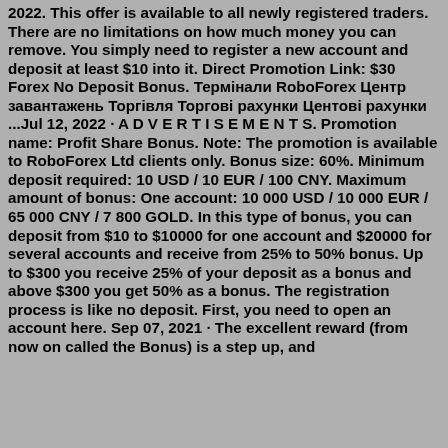2022. This offer is available to all newly registered traders. There are no limitations on how much money you can remove. You simply need to register a new account and deposit at least $10 into it. Direct Promotion Link: $30 Forex No Deposit Bonus. Термінали RoboForex Центр завантажень Торгівля Торгові рахунки Центові рахунки ...Jul 12, 2022 · A D V E R T I S E M E N T S. Promotion name: Profit Share Bonus. Note: The promotion is available to RoboForex Ltd clients only. Bonus size: 60%. Minimum deposit required: 10 USD / 10 EUR / 100 CNY. Maximum amount of bonus: One account: 10 000 USD / 10 000 EUR / 65 000 CNY / 7 800 GOLD. In this type of bonus, you can deposit from $10 to $10000 for one account and $20000 for several accounts and receive from 25% to 50% bonus. Up to $300 you receive 25% of your deposit as a bonus and above $300 you get 50% as a bonus. The registration process is like no deposit. First, you need to open an account here. Sep 07, 2021 · The excellent reward (from now on called the Bonus) is a step up, and